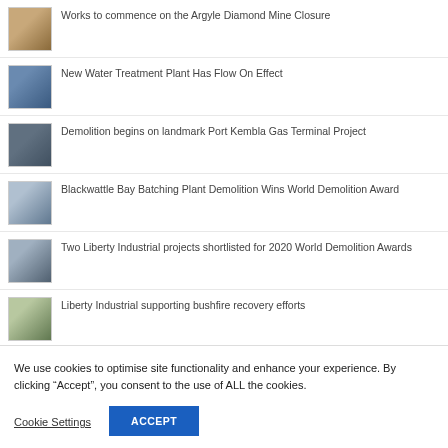Works to commence on the Argyle Diamond Mine Closure
New Water Treatment Plant Has Flow On Effect
Demolition begins on landmark Port Kembla Gas Terminal Project
Blackwattle Bay Batching Plant Demolition Wins World Demolition Award
Two Liberty Industrial projects shortlisted for 2020 World Demolition Awards
Liberty Industrial supporting bushfire recovery efforts
We use cookies to optimise site functionality and enhance your experience. By clicking “Accept”, you consent to the use of ALL the cookies.
Cookie Settings
ACCEPT